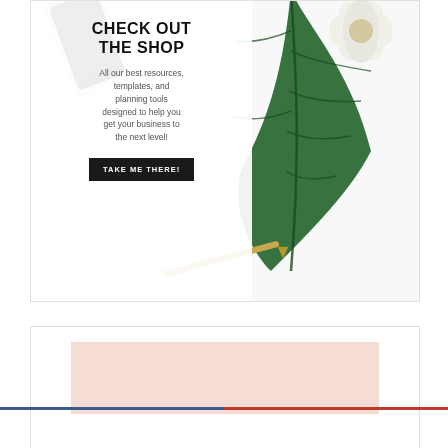[Figure (infographic): Shop advertisement card with a phone, tropical leaf, and white flower background. Contains headline 'CHECK OUT THE SHOP', descriptive text, and a 'TAKE ME THERE!' button.]
CHECK OUT THE SHOP
All our best resources, templates, and planning tools designed to help you get your business to the next level!
TAKE ME THERE!
[Figure (infographic): Bottom card with a blush/pink rectangular block, partially visible, below a blue and red horizontal divider line.]